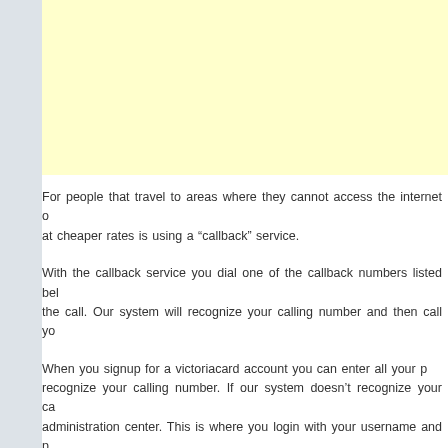[Figure (other): Yellow advertisement box placeholder at the top of the content area]
For people that travel to areas where they cannot access the internet or at cheaper rates is using a “callback” service.
With the callback service you dial one of the callback numbers listed below the call. Our system will recognize your calling number and then call yo
When you signup for a victoriacard account you can enter all your p recognize your calling number. If our system doesn’t recognize your ca administration center. This is where you login with your username and p
Callback phone calls are charged at our IP phone rates. These are the there that also offers a callback service.
Here is an example. Let’s say you are calling the USA from Ukraine. Y